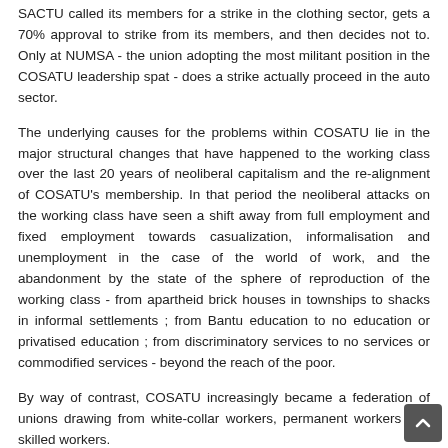SACTU called its members for a strike in the clothing sector, gets a 70% approval to strike from its members, and then decides not to. Only at NUMSA - the union adopting the most militant position in the COSATU leadership spat - does a strike actually proceed in the auto sector.
The underlying causes for the problems within COSATU lie in the major structural changes that have happened to the working class over the last 20 years of neoliberal capitalism and the re-alignment of COSATU's membership. In that period the neoliberal attacks on the working class have seen a shift away from full employment and fixed employment towards casualization, informalisation and unemployment in the case of the world of work, and the abandonment by the state of the sphere of reproduction of the working class - from apartheid brick houses in townships to shacks in informal settlements ; from Bantu education to no education or privatised education ; from discriminatory services to no services or commodified services - beyond the reach of the poor.
By way of contrast, COSATU increasingly became a federation of unions drawing from white-collar workers, permanent workers and skilled workers.
COSATU shop stewards and worker leaders are now full-time shop stewards living in the world of negotiations, subsidised cars and houses,